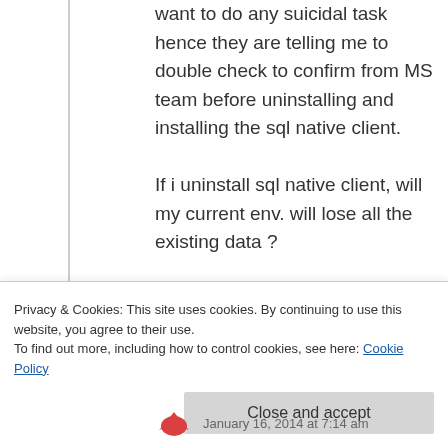want to do any suicidal task hence they are telling me to double check to confirm from MS team before uninstalling and installing the sql native client. If i uninstall sql native client, will my current env. will lose all the existing data ?
pls help
★ Like
Privacy & Cookies: This site uses cookies. By continuing to use this website, you agree to their use.
To find out more, including how to control cookies, see here: Cookie Policy
Close and accept
January 16, 2014 at 7:14 am